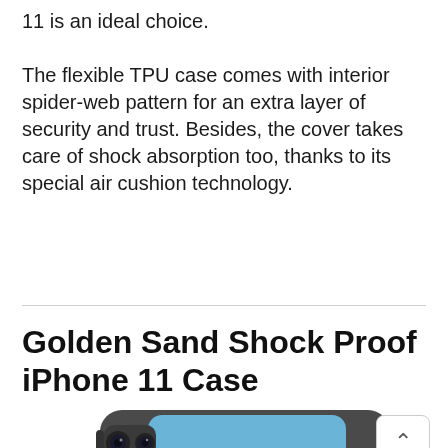11 is an ideal choice.
The flexible TPU case comes with interior spider-web pattern for an extra layer of security and trust. Besides, the cover takes care of shock absorption too, thanks to its special air cushion technology.
Golden Sand Shock Proof iPhone 11 Case
[Figure (photo): Photo of a dark/black rugged shockproof iPhone 11 case with a blue front screen protector visible, showing the back camera cutout with dual lenses]